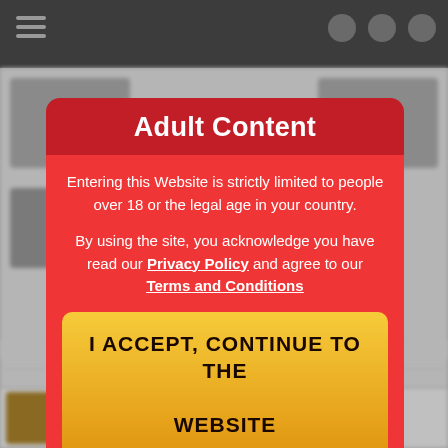[Figure (screenshot): Website navigation bar background (dark gray) with hamburger menu icon on the left and icons on the right.]
Adult Content
Entering this Website is strictly limited to people over 18 or the legal age in your country.
By using the site, you acknowledge you have read our Privacy Policy and agree to our Terms and Conditions
I ACCEPT, CONTINUE TO THE WEBSITE
[Figure (screenshot): Blurred website content in the background showing thumbnails and text.]